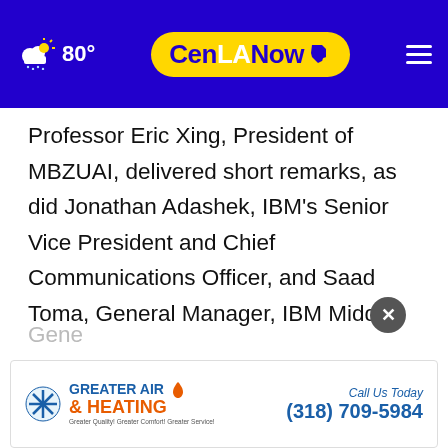CenLANow — 80°
Professor Eric Xing, President of MBZUAI, delivered short remarks, as did Jonathan Adashek, IBM's Senior Vice President and Chief Communications Officer, and Saad Toma, General Manager, IBM Middle East, and Africa. The agreement was then signed by Sultan Al Hajji, Vice President for Public Affairs and Alumni Relations at MBZUAI and Wael Abdoush, Gene...
[Figure (other): Greater Air & Heating advertisement banner with phone number (318) 709-5984]